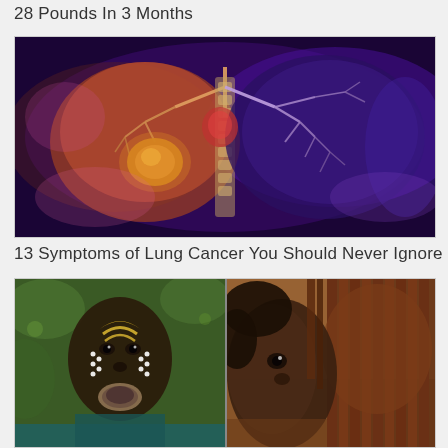28 Pounds In 3 Months
[Figure (illustration): Medical illustration of human lungs and heart showing cancer tumor on left lung against a purple/dark background with glowing orange and purple tones]
13 Symptoms of Lung Cancer You Should Never Ignore
[Figure (photo): Two side-by-side photos: left shows an African tribal person with traditional face paint and lip plate; right shows a young African child with braided hair covering part of face]